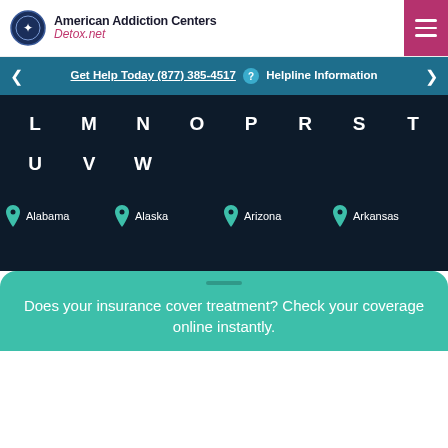American Addiction Centers Detox.net
Get Help Today (877) 385-4517 ? Helpline Information
L M N O P R S T
U V W
Alabama  Alaska  Arizona  Arkansas
Does your insurance cover treatment? Check your coverage online instantly.